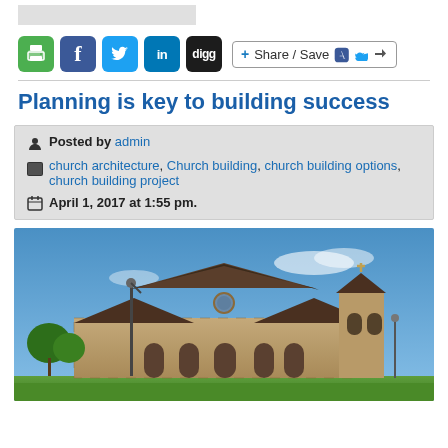[Figure (screenshot): Social media sharing bar with print, Facebook, Twitter, LinkedIn, Digg icons and Share/Save button]
Planning is key to building success
Posted by admin
church architecture, Church building, church building options, church building project
April 1, 2017 at 1:55 pm.
[Figure (photo): Photo of a church building with stone facade, dark metal roof, bell tower with cross, and a lamp post in front, under blue sky]